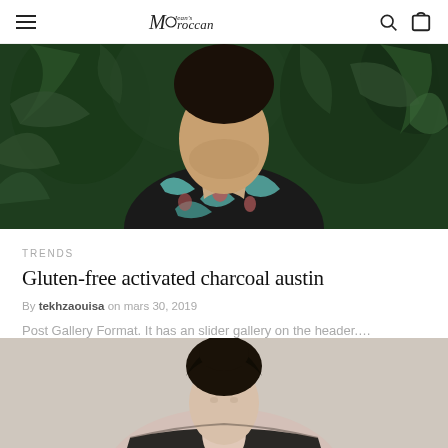MOrgan Moroccan [logo] [search icon] [bag icon]
[Figure (photo): Man wearing a dark floral/tropical print shirt, photographed from chest up against a lush green tropical plant background]
TRENDS
Gluten-free activated charcoal austin
By tekhzaouisa on mars 30, 2019
Post Gallery Format. It has an slider gallery on the header....
[Figure (photo): Woman with dark hair pulled up, photographed from shoulders up, against a light neutral background]